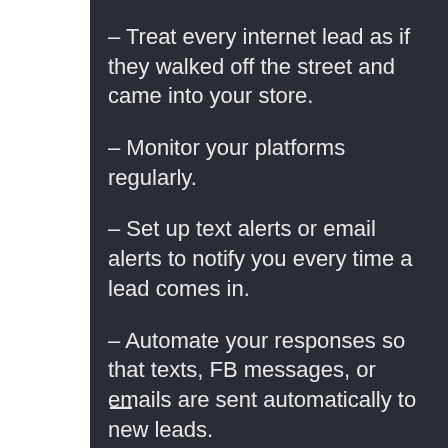– Treat every internet lead as if they walked off the street and came into your store.
– Monitor your platforms regularly.
– Set up text alerts or email alerts to notify you every time a lead comes in.
– Automate your responses so that texts, FB messages, or emails are sent automatically to new leads.